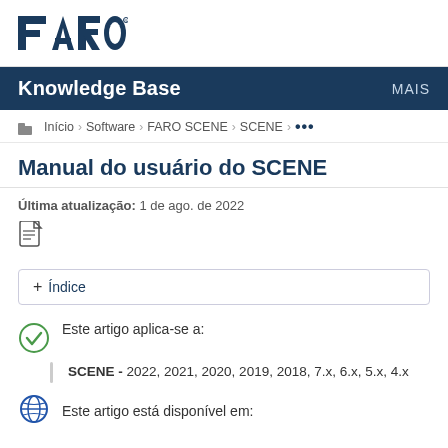[Figure (logo): FARO logo in dark navy blue text]
Knowledge Base   MAIS
Início › Software › FARO SCENE › SCENE › ...
Manual do usuário do SCENE
Última atualização: 1 de ago. de 2022
[Figure (illustration): PDF file icon]
+ Índice
Este artigo aplica-se a:
SCENE - 2022, 2021, 2020, 2019, 2018, 7.x, 6.x, 5.x, 4.x
Este artigo está disponível em: